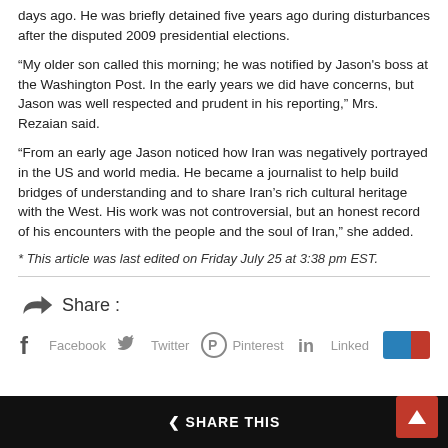days ago. He was briefly detained five years ago during disturbances after the disputed 2009 presidential elections.
“My older son called this morning; he was notified by Jason's boss at the Washington Post. In the early years we did have concerns, but Jason was well respected and prudent in his reporting,” Mrs. Rezaian said.
“From an early age Jason noticed how Iran was negatively portrayed in the US and world media. He became a journalist to help build bridges of understanding and to share Iran’s rich cultural heritage with the West. His work was not controversial, but an honest record of his encounters with the people and the soul of Iran,” she added.
* This article was last edited on Friday July 25 at 3:38 pm EST.
Share :
Facebook  Twitter  Pinterest  LinkedIn
< SHARE THIS